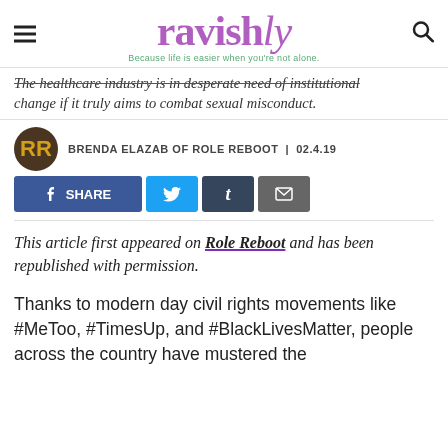ravishly — Because life is easier when you're not alone.
The healthcare industry is in desperate need of institutional change if it truly aims to combat sexual misconduct.
BRENDA ELAZAB OF ROLE REBOOT | 02.4.19
[Figure (screenshot): Social share buttons: Facebook SHARE, Twitter, Tumblr, Email]
This article first appeared on Role Reboot and has been republished with permission.
Thanks to modern day civil rights movements like #MeToo, #TimesUp, and #BlackLivesMatter, people across the country have mustered the